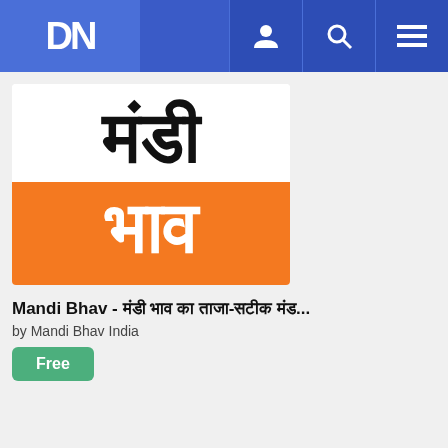DN — navigation bar with user, search, and menu icons
[Figure (logo): Mandi Bhav app logo: Hindi text 'मंडी' in large black bold letters on white background, and 'भाव' in large white bold letters on orange background]
Mandi Bhav - मंडी भाव का ताजा-सटीक मंड...
by Mandi Bhav India
Free